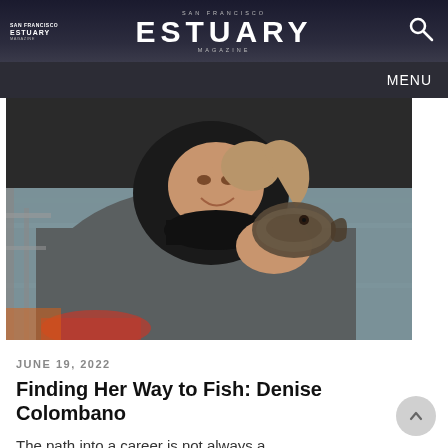SAN FRANCISCO ESTUARY MAGAZINE
[Figure (photo): A person wearing a black neoprene hood and gray rain jacket holds a small flat fish (likely a flounder or similar flatfish) up toward the camera, smiling. The background shows grey water, suggesting they are on a boat.]
JUNE 19, 2022
Finding Her Way to Fish: Denise Colombano
The path into a career is not always a